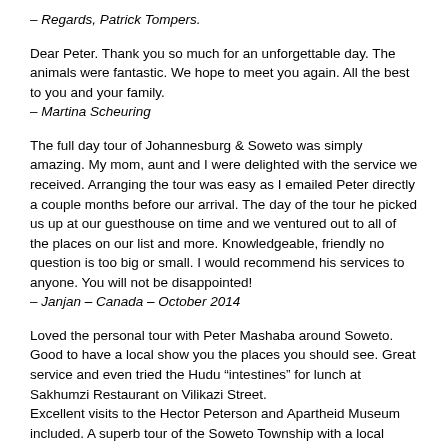– Regards, Patrick Tompers.
Dear Peter. Thank you so much for an unforgettable day. The animals were fantastic. We hope to meet you again. All the best to you and your family.
– Martina Scheuring
The full day tour of Johannesburg & Soweto was simply amazing. My mom, aunt and I were delighted with the service we received. Arranging the tour was easy as I emailed Peter directly a couple months before our arrival. The day of the tour he picked us up at our guesthouse on time and we ventured out to all of the places on our list and more. Knowledgeable, friendly no question is too big or small. I would recommend his services to anyone. You will not be disappointed!
– Janjan – Canada – October 2014
Loved the personal tour with Peter Mashaba around Soweto. Good to have a local show you the places you should see. Great service and even tried the Hudu “intestines” for lunch at Sakhumzi Restaurant on Vilikazi Street.
Excellent visits to the Hector Peterson and Apartheid Museum included. A superb tour of the Soweto Township with a local South